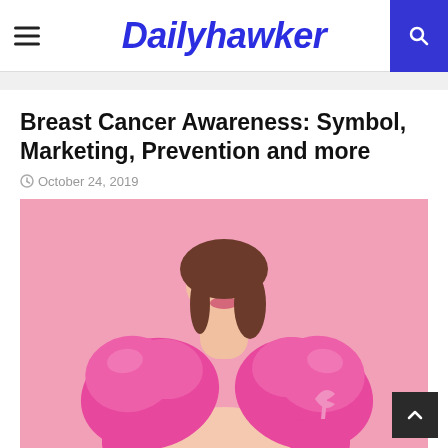Dailyhawker
Breast Cancer Awareness: Symbol, Marketing, Prevention and more
October 24, 2019
[Figure (photo): Woman holding pink boxing gloves with a pink breast cancer awareness ribbon, against a pink background]